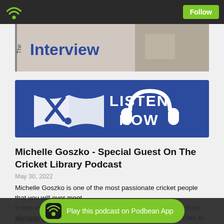Follow
[Figure (screenshot): The Interview banner image with a person in the background]
[Figure (illustration): Cricket Library Podcast Listen Now banner with book and cricket bat icons and headphones icon on blue background]
Michelle Goszko - Special Guest On The Cricket Library Podcast
May 30, 2022
Michelle Goszko is one of the most passionate cricket people that you will ever meet.
In this edition of the Cricket Library Podcast, we will hear from Michelle about the origins of that passion and how it lead her to a distinguished career with the highly successful NSW Breakers and National ho
Michelle sh... st debut,
Play this podcast on Podbean App